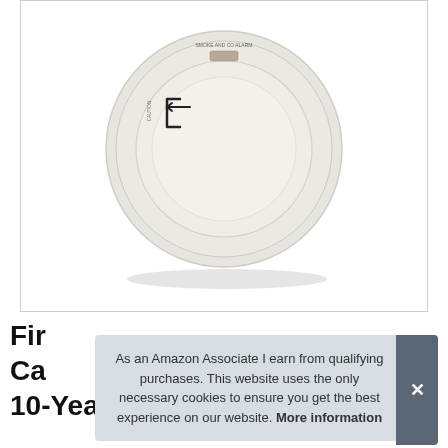[Figure (photo): Top-down view of a white circular smoke and CO alarm detector (First Alert brand), showing the back/top face with a test button, label text, and battery compartment indicator. The device is white/off-white and round.]
Fir Ca 10-Year Battery, White
As an Amazon Associate I earn from qualifying purchases. This website uses the only necessary cookies to ensure you get the best experience on our website. More information